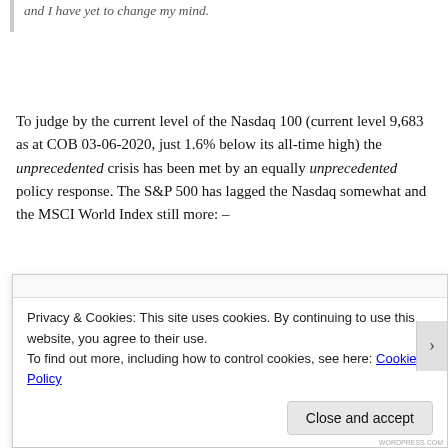and I have yet to change my mind.
To judge by the current level of the Nasdaq 100 (current level 9,683 as at COB 03-06-2020, just 1.6% below its all-time high) the unprecedented crisis has been met by an equally unprecedented policy response. The S&P 500 has lagged the Nasdaq somewhat and the MSCI World Index still more: –
Privacy & Cookies: This site uses cookies. By continuing to use this website, you agree to their use.
To find out more, including how to control cookies, see here: Cookie Policy